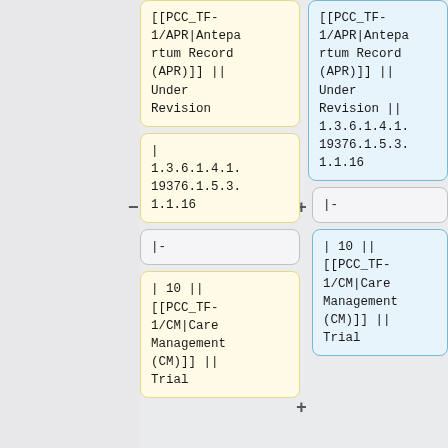[[PCC_TF-1/APR|Antepartum Record (APR)]] || Under Revision
[[PCC_TF-1/APR|Antepartum Record (APR)]] || Under Revision || 1.3.6.1.4.1.19376.1.5.3.1.1.16
| 1.3.6.1.4.1.19376.1.5.3.1.1.16
|-
|-
| 10 || [[PCC_TF-1/CM|Care Management (CM)]] || Trial
| 10 || [[PCC_TF-1/CM|Care Management (CM)]] || Trial